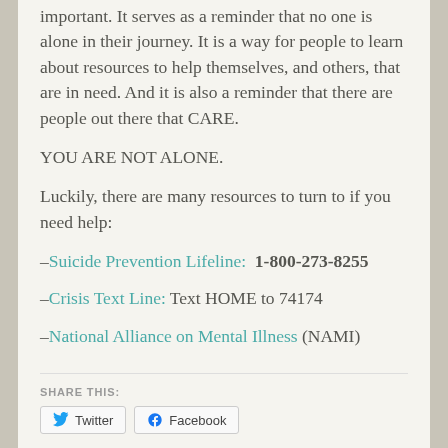important. It serves as a reminder that no one is alone in their journey. It is a way for people to learn about resources to help themselves, and others, that are in need. And it is also a reminder that there are people out there that CARE.
YOU ARE NOT ALONE.
Luckily, there are many resources to turn to if you need help:
– Suicide Prevention Lifeline: 1-800-273-8255
– Crisis Text Line: Text HOME to 74174
– National Alliance on Mental Illness (NAMI)
SHARE THIS:
Twitter  Facebook